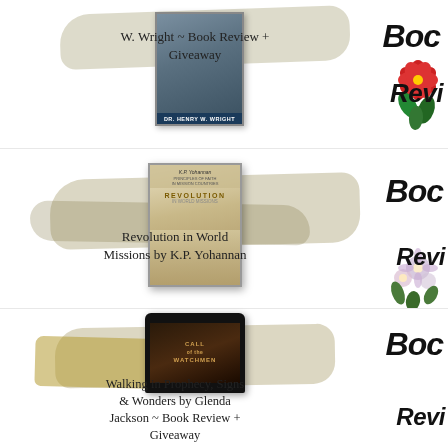[Figure (illustration): Book cover for Henry W. Wright book with brush stroke background and 'Boc' and 'Revi' script decoration, poinsettia flowers top right]
W. Wright ~ Book Review + Giveaway
[Figure (illustration): Book cover for Revolution in World Missions by K.P. Yohannan with gold/olive brush stroke background and 'Boc' and 'Revi' script decoration, floral decoration bottom right]
Revolution in World Missions by K.P. Yohannan
[Figure (illustration): Book cover for Walking in Prophecy Signs & Wonders / Call of the Watchmen by Glenda Jackson with gold brush stroke and 'Boc' and 'Revi' script decoration]
Walking in Prophecy, Signs & Wonders by Glenda Jackson ~ Book Review + Giveaway